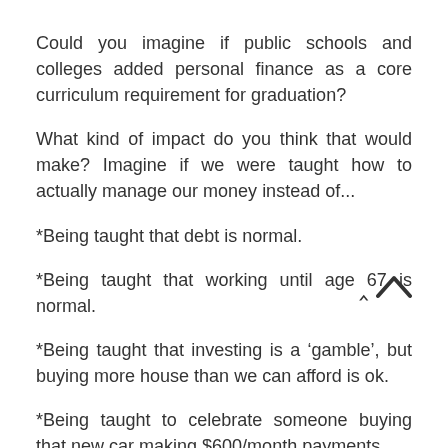Could you imagine if public schools and colleges added personal finance as a core curriculum requirement for graduation?
What kind of impact do you think that would make? Imagine if we were taught how to actually manage our money instead of...
*Being taught that debt is normal.
*Being taught that working until age 67 is normal.
*Being taught that investing is a ‘gamble’, but buying more house than we can afford is ok.
*Being taught to celebrate someone buying that new car making $600/month payments.
*Being taught Art appreciation as a curriculum requirement but nothing about taxes, W2’s, IRAs, Real Estate, etc.